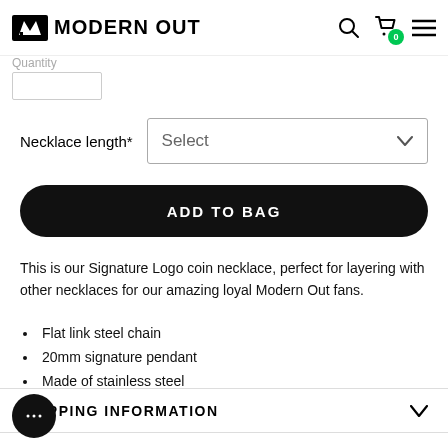Modern Out — navigation header with logo, search, cart, and menu icons
Quantity
Necklace length* Select
ADD TO BAG
This is our Signature Logo coin necklace, perfect for layering with other necklaces for our amazing loyal Modern Out fans.
Flat link steel chain
20mm signature pendant
Made of stainless steel
SHIPPING INFORMATION
CHART